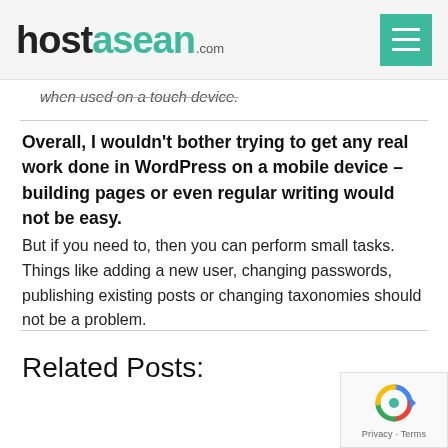hostasean.com
when used on a touch device.
Overall, I wouldn't bother trying to get any real work done in WordPress on a mobile device – building pages or even regular writing would not be easy.
But if you need to, then you can perform small tasks. Things like adding a new user, changing passwords, publishing existing posts or changing taxonomies should not be a problem.
Related Posts:
[Figure (logo): reCAPTCHA privacy badge with Google logo in bottom-right corner showing Privacy and Terms links]